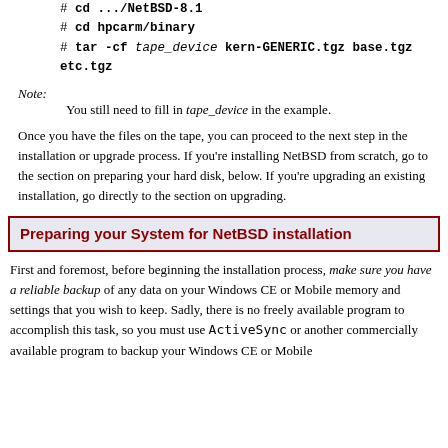# cd .../NetBSD-8.1
# cd hpcarm/binary
# tar -cf tape_device kern-GENERIC.tgz base.tgz etc.tgz
Note: You still need to fill in tape_device in the example.
Once you have the files on the tape, you can proceed to the next step in the installation or upgrade process. If you're installing NetBSD from scratch, go to the section on preparing your hard disk, below. If you're upgrading an existing installation, go directly to the section on upgrading.
Preparing your System for NetBSD installation
First and foremost, before beginning the installation process, make sure you have a reliable backup of any data on your Windows CE or Mobile memory and settings that you wish to keep. Sadly, there is no freely available program to accomplish this task, so you must use ActiveSync or another commercially available program to backup your Windows CE or Mobile